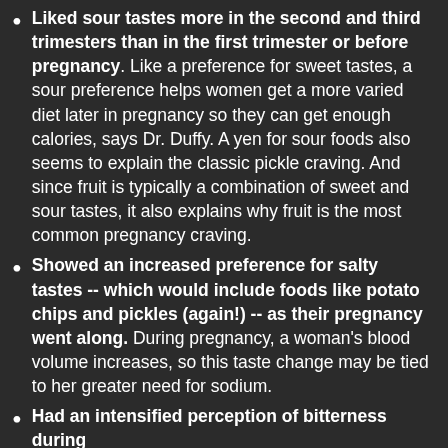Liked sour tastes more in the second and third trimesters than in the first trimester or before pregnancy. Like a preference for sweet tastes, a sour preference helps women get a more varied diet later in pregnancy so they can get enough calories, says Dr. Duffy. A yen for sour foods also seems to explain the classic pickle craving. And since fruit is typically a combination of sweet and sour tastes, it also explains why fruit is the most common pregnancy craving.
Showed an increased preference for salty tastes -- which would include foods like potato chips and pickles (again!) -- as their pregnancy went along. During pregnancy, a woman's blood volume increases, so this taste change may be tied to her greater need for sodium.
Had an intensified perception of bitterness during the first trimester. Scientists suggest that this might...